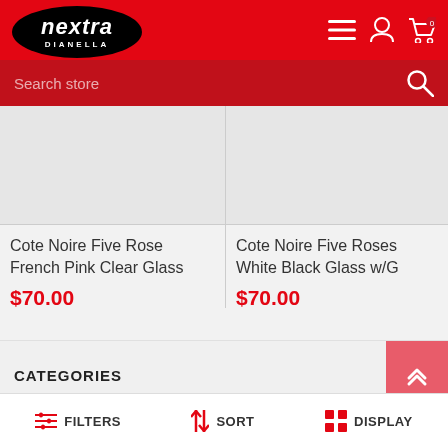nextra DIANELLA
Search store
Cote Noire Five Rose French Pink Clear Glass $70.00
Cote Noire Five Roses White Black Glass w/G $70.00
CATEGORIES
FILTERS  SORT  DISPLAY